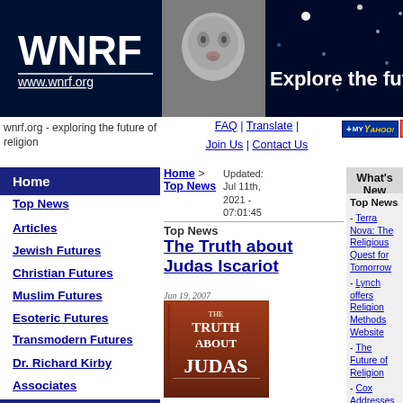[Figure (screenshot): WNRF website banner with logo, baby photo, and 'Explore the future' text on dark blue starfield background]
wnrf.org - exploring the future of religion
FAQ | Translate | Join Us | Contact Us
[Figure (logo): My Yahoo and RSS buttons]
Home
Top News
Articles
Jewish Futures
Christian Futures
Muslim Futures
Esoteric Futures
Transmodern Futures
Dr. Richard Kirby
Associates
About
Home > Top News
Updated: Jul 11th, 2021 - 07:01:45
Top News
The Truth about Judas Iscariot
Jun 19, 2007
[Figure (photo): Book cover: The Truth About Judas]
Recent discoveries of 'The Gospel of Judas' have spurred on intrigue into the 'lost disciple' of Jesus. Rabbi Moshe Dror reviews a new book 'The...
What's New
Top News
- Terra Nova: The Religious Quest for Tomorrow
- Lynch offers Religion Methods Website
- The Future of Religion
- Cox Addresses Future of Faith
Articles
- Which Requires more Faith, Science or Religion?
- The Future of the Religion Business
- Religious Belief in the Year 2100
- The Future(s) & Religion(s)